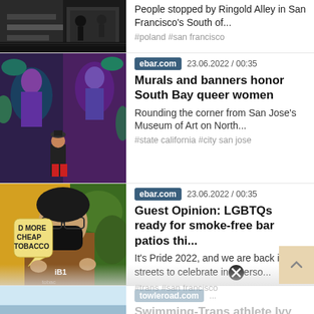[Figure (photo): Partial top article thumbnail showing dark street scene]
People stopped by Ringold Alley in San Francisco's South of...
#poland #san francisco
[Figure (photo): Colorful mural with figures and a person standing in front]
ebar.com   23.06.2022 / 00:35
Murals and banners honor South Bay queer women
Rounding the corner from San Jose's Museum of Art on North...
#state california #city san jose
[Figure (photo): Person wearing mask holding sign reading NO MORE CHEAP TOBACCO]
ebar.com   23.06.2022 / 00:35
Guest Opinion: LGBTQs ready for smoke-free bar patios thi...
It's Pride 2022, and we are back in the streets to celebrate in perso...
#trans #san francisco
[Figure (photo): Partial bottom article thumbnail showing sky/water]
towleroad.com ...
Swimming-Trans athlete Ivy